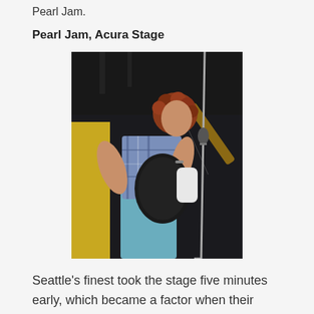Pearl Jam.
Pearl Jam, Acura Stage
[Figure (photo): A male guitarist with curly reddish-brown hair wearing a blue plaid shirt and light blue jeans, leaning forward while playing a black and white electric guitar on stage, with a microphone stand in the foreground.]
Seattle's finest took the stage five minutes early, which became a factor when their scheduled two-hour set ended